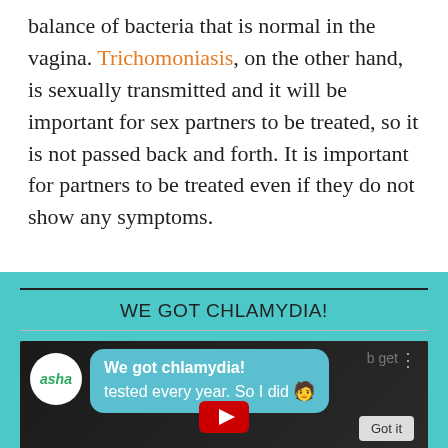balance of bacteria that is normal in the vagina. Trichomoniasis, on the other hand, is sexually transmitted and it will be important for sex partners to be treated, so it is not passed back and forth. It is important for partners to be treated even if they do not show any symptoms.
WE GOT CHLAMYDIA!
[Figure (screenshot): Video thumbnail showing ASHA logo circle, a text message bubble reading 'We got chlamydia!' overlaid with faded text 'get tested every year. So I did' with emoji, on a teal background, with dots menu icon and 'Got it' button visible at bottom right.]